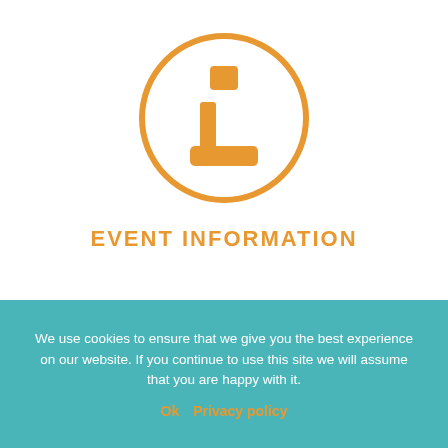[Figure (illustration): Orange circle outline containing a bold orange letter 'i' (information icon)]
EVENT INFORMATION
We use cookies to ensure that we give you the best experience on our website. If you continue to use this site we will assume that you are happy with it.
Ok   Privacy policy